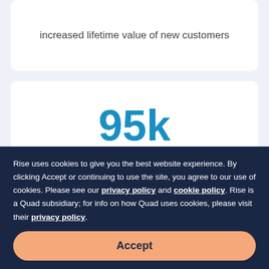increased lifetime value of new customers
95k
increase in digital registrations
Rise uses cookies to give you the best website experience. By clicking Accept or continuing to use the site, you agree to our use of cookies. Please see our privacy policy and cookie policy. Rise is a Quad subsidiary; for info on how Quad uses cookies, please visit their privacy policy.
Accept